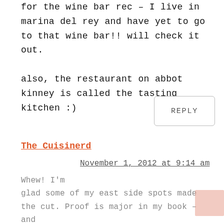for the wine bar rec – I live in marina del rey and have yet to go to that wine bar!! will check it out.

also, the restaurant on abbot kinney is called the tasting kitchen :)
REPLY
The Cuisinerd
November 1, 2012 at 9:14 am
Whew! I'm glad some of my east side spots made the cut. Proof is major in my book – and